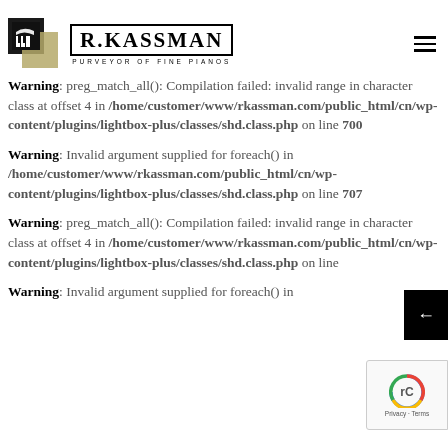[Figure (logo): R.Kassman Purveyor of Fine Pianos logo with piano icon]
Warning: preg_match_all(): Compilation failed: invalid range in character class at offset 4 in /home/customer/www/rkassman.com/public_html/cn/wp-content/plugins/lightbox-plus/classes/shd.class.php on line 700
Warning: Invalid argument supplied for foreach() in /home/customer/www/rkassman.com/public_html/cn/wp-content/plugins/lightbox-plus/classes/shd.class.php on line 707
Warning: preg_match_all(): Compilation failed: invalid range in character class at offset 4 in /home/customer/www/rkassman.com/public_html/cn/wp-content/plugins/lightbox-plus/classes/shd.class.php on line
Warning: Invalid argument supplied for foreach() in